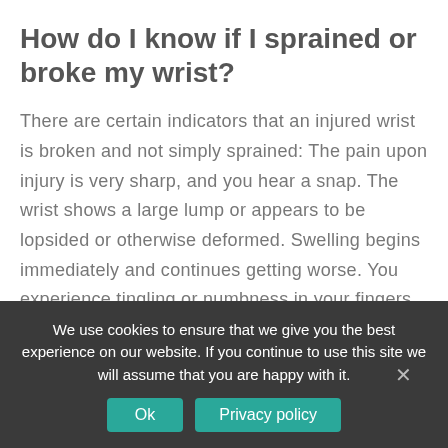How do I know if I sprained or broke my wrist?
There are certain indicators that an injured wrist is broken and not simply sprained: The pain upon injury is very sharp, and you hear a snap. The wrist shows a large lump or appears to be lopsided or otherwise deformed. Swelling begins immediately and continues getting worse. You experience tingling or numbness in your fingers.
How to know if a person has broken their wrist?
especially when flexing the wrist
We use cookies to ensure that we give you the best experience on our website. If you continue to use this site we will assume that you are happy with it.